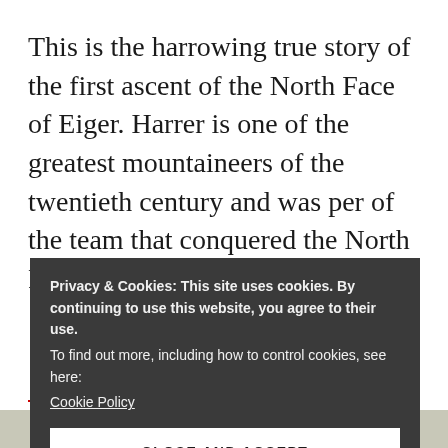This is the harrowing true story of the first ascent of the North Face of Eiger. Harrer is one of the greatest mountaineers of the twentieth century and was per of the team that conquered the North Face in 1938.
Privacy & Cookies: This site uses cookies. By continuing to use this website, you agree to their use.
To find out more, including how to control cookies, see here: Cookie Policy
CLOSE AND ACCEPT
[Figure (photo): Partial image visible at the bottom of the page, appears to be a landscape photograph]